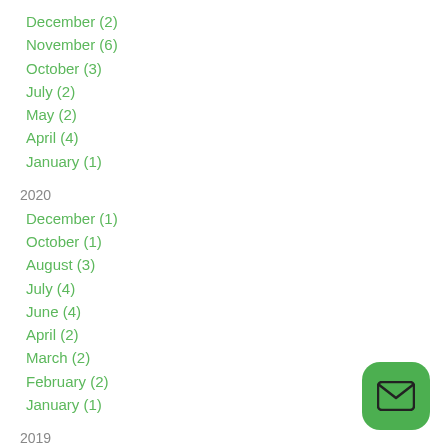December (2)
November (6)
October (3)
July (2)
May (2)
April (4)
January (1)
2020
December (1)
October (1)
August (3)
July (4)
June (4)
April (2)
March (2)
February (2)
January (1)
2019
[Figure (illustration): Green rounded square button with envelope/mail icon]